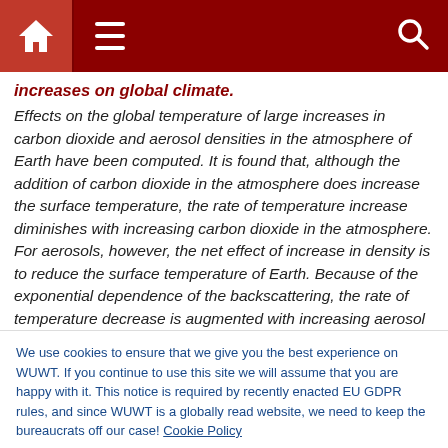Navigation bar with home, menu, and search icons
increases on global climate.
Effects on the global temperature of large increases in carbon dioxide and aerosol densities in the atmosphere of Earth have been computed. It is found that, although the addition of carbon dioxide in the atmosphere does increase the surface temperature, the rate of temperature increase diminishes with increasing carbon dioxide in the atmosphere. For aerosols, however, the net effect of increase in density is to reduce the surface temperature of Earth. Because of the exponential dependence of the backscattering, the rate of temperature decrease is augmented with increasing aerosol
We use cookies to ensure that we give you the best experience on WUWT. If you continue to use this site we will assume that you are happy with it. This notice is required by recently enacted EU GDPR rules, and since WUWT is a globally read website, we need to keep the bureaucrats off our case! Cookie Policy
And years later Dr. James Hansen is predicting a runaway